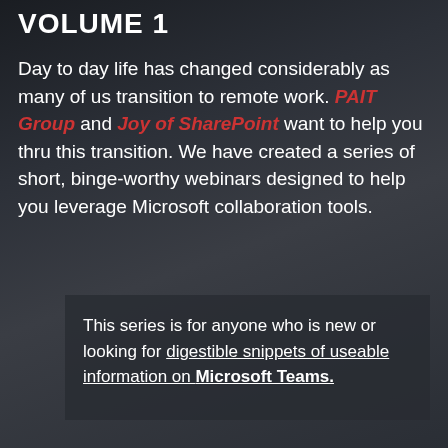VOLUME 1
Day to day life has changed considerably as many of us transition to remote work. PAIT Group and Joy of SharePoint want to help you thru this transition. We have created a series of short, binge-worthy webinars designed to help you leverage Microsoft collaboration tools.
This series is for anyone who is new or looking for digestible snippets of useable information on Microsoft Teams.